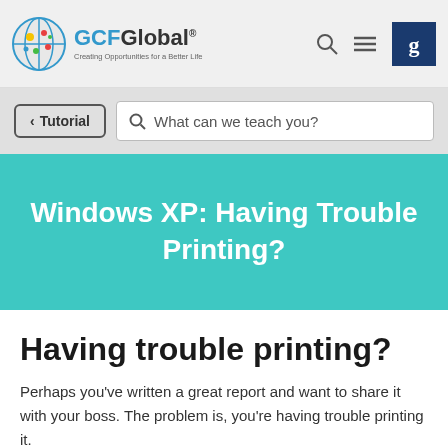GCFGlobal — Creating Opportunities for a Better Life
< Tutorial   What can we teach you?
Windows XP: Having Trouble Printing?
Having trouble printing?
Perhaps you've written a great report and want to share it with your boss. The problem is, you're having trouble printing it.